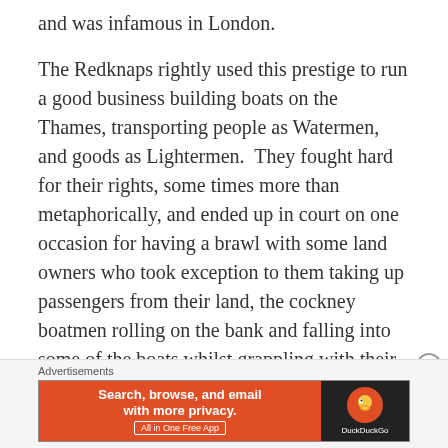and was infamous in London.
The Redknaps rightly used this prestige to run a good business building boats on the Thames, transporting people as Watermen, and goods as Lightermen.  They fought hard for their rights, some times more than metaphorically, and ended up in court on one occasion for having a brawl with some land owners who took exception to them taking up passengers from their land, the cockney boatmen rolling on the bank and falling into some of the boats whilst grappling with their wealthy opponents.
Advertisements
[Figure (other): DuckDuckGo advertisement banner: orange background with text 'Search, browse, and email with more privacy. All in One Free App' and DuckDuckGo logo on dark background]